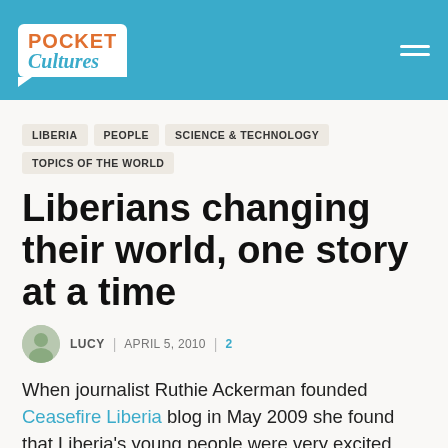Pocket Cultures
LIBERIA
PEOPLE
SCIENCE & TECHNOLOGY
TOPICS OF THE WORLD
Liberians changing their world, one story at a time
LUCY | APRIL 5, 2010 | 2
When journalist Ruthie Ackerman founded Ceasefire Liberia blog in May 2009 she found that Liberia's young people were very excited about the